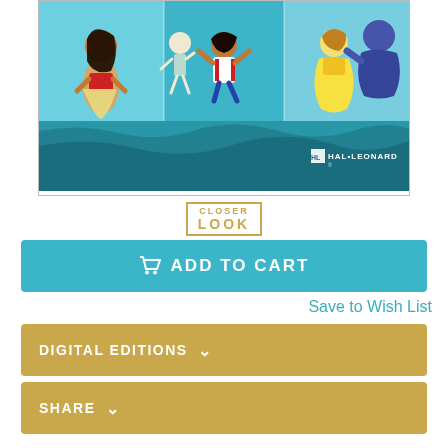[Figure (illustration): Book cover image for a Hal Leonard Disney music publication featuring three panels: Moana character on blue background (left), Coco characters dancing on teal background (center), Beauty and the Beast characters on light blue background (right). Below panels is a teal ocean/water background with the Hal Leonard logo in the lower right corner.]
[Figure (logo): Closer Look button with gold border - text reads CLOSER on top line and LOOK on bottom line in gold capital letters]
ADD TO CART
Save to Wish List
DIGITAL EDITIONS
SHARE